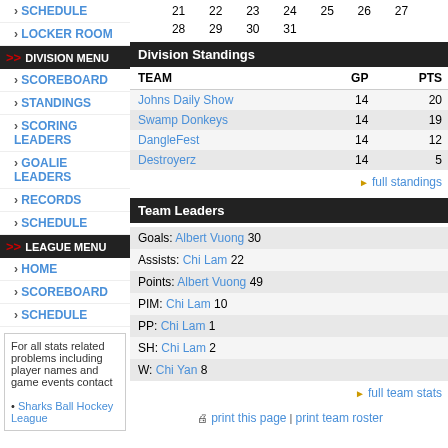SCHEDULE
LOCKER ROOM
DIVISION MENU
SCOREBOARD
STANDINGS
SCORING LEADERS
GOALIE LEADERS
RECORDS
SCHEDULE
LEAGUE MENU
HOME
SCOREBOARD
SCHEDULE
For all stats related problems including player names and game events contact • Sharks Ball Hockey League
| TEAM | GP | PTS |
| --- | --- | --- |
| Johns Daily Show | 14 | 20 |
| Swamp Donkeys | 14 | 19 |
| DangleFest | 14 | 12 |
| Destroyerz | 14 | 5 |
full standings
Team Leaders
Goals: Albert Vuong 30
Assists: Chi Lam 22
Points: Albert Vuong 49
PIM: Chi Lam 10
PP: Chi Lam 1
SH: Chi Lam 2
W: Chi Yan 8
full team stats
print this page | print team roster